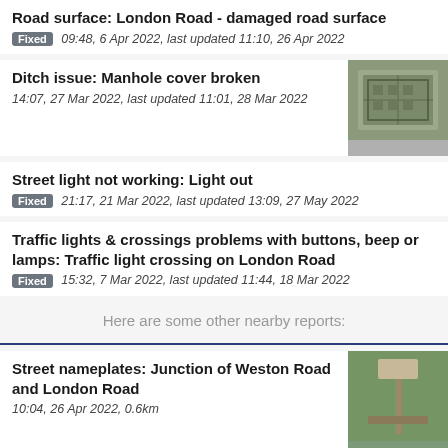Road surface: London Road - damaged road surface
Fixed 09:48, 6 Apr 2022, last updated 11:10, 26 Apr 2022
Ditch issue: Manhole cover broken
14:07, 27 Mar 2022, last updated 11:01, 28 Mar 2022
[Figure (photo): Photo of a broken manhole cover on grass]
Street light not working: Light out
Fixed 21:17, 21 Mar 2022, last updated 13:09, 27 May 2022
Traffic lights & crossings problems with buttons, beep or lamps: Traffic light crossing on London Road
Fixed 15:32, 7 Mar 2022, last updated 11:44, 18 Mar 2022
Here are some other nearby reports:
Street nameplates: Junction of Weston Road and London Road
10:04, 26 Apr 2022, 0.6km
[Figure (photo): Photo of a street nameplate on a post in grass]
Abandoned vehicles: Ford truck white